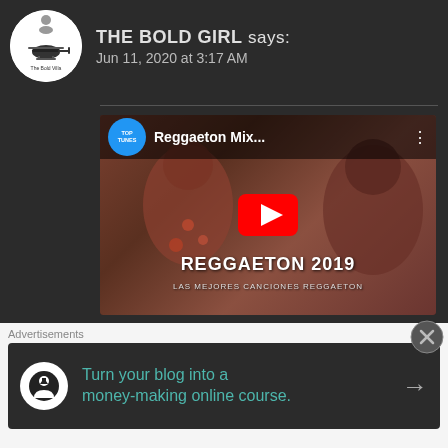THE BOLD GIRL says: Jun 11, 2020 at 3:17 AM
[Figure (screenshot): YouTube video thumbnail for 'Reggaeton Mix...' from TOP TUNES channel showing REGGAETON 2019 LAS MEJORES CANCIONES REGGAETON with a red YouTube play button]
Check these. This is a list of songs. Not sure if I've heard them all. But if you seach with this keyword, you'll get a hell
Advertisements
Turn your blog into a money-making online course.